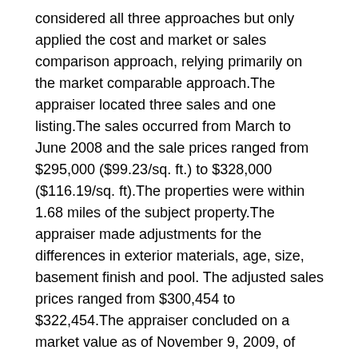considered all three approaches but only applied the cost and market or sales comparison approach, relying primarily on the market comparable approach.The appraiser located three sales and one listing.The sales occurred from March to June 2008 and the sale prices ranged from $295,000 ($99.23/sq. ft.) to $328,000 ($116.19/sq. ft).The properties were within 1.68 miles of the subject property.The appraiser made adjustments for the differences in exterior materials, age, size, basement finish and pool. The adjusted sales prices ranged from $300,454 to $322,454.The appraiser concluded on a market value as of November 9, 2009, of $320,000.
The appraiser stated that she could not provide an opinion of the market value of the subject property on January 1, 2009, without reviewing all of her information and doing additional work.She testified that although she could not provide an opinion of value as of January 1, 2009, immediately, she would note that the market research in her file that she brought with her to the hearing indicated that the market has increased slightly since January 1,